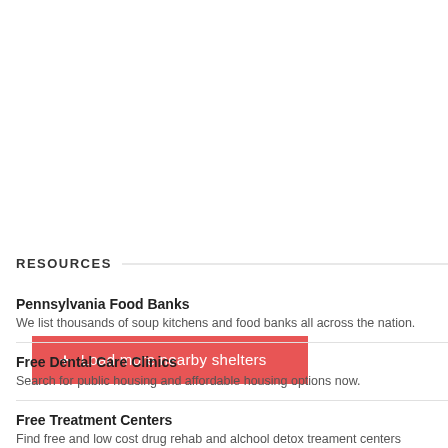+ Load more nearby shelters
RESOURCES
Pennsylvania Food Banks
We list thousands of soup kitchens and food banks all across the nation.
Free Dental Care Clinics
Search for public housing and affordable housing options now.
Free Treatment Centers
Find free and low cost drug rehab and alchool detox treament centers